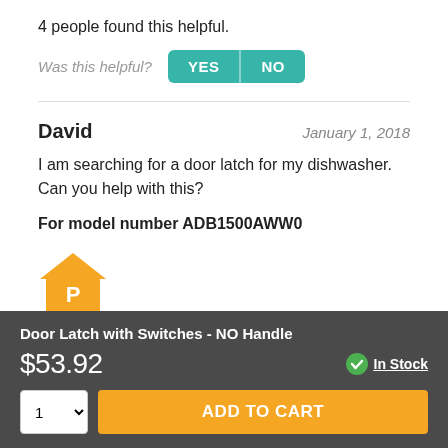4 people found this helpful.
Was this helpful? YES NO
David
January 1, 2018
I am searching for a door latch for my dishwasher. Can you help with this?
For model number ADB1500AWW0
[Figure (logo): Orange house icon with letter P]
Door Latch with Switches - NO Handle
$53.92
In Stock
1 ADD TO CART